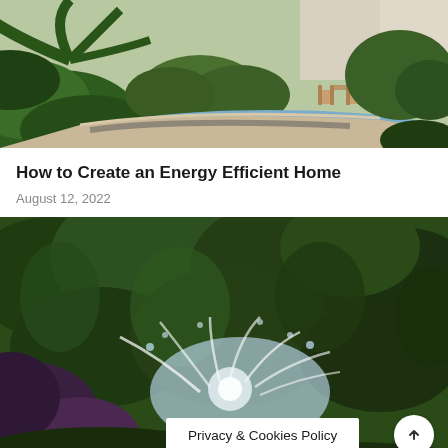[Figure (photo): Outdoor garden scene with tropical plants, a curved pool edge, and patio furniture (two chairs and a table) on a concrete patio near a house]
How to Create an Energy Efficient Home
August 12, 2022
[Figure (photo): Close-up of a garden sprinkler spraying water over lush green plants and foliage, slightly blurred]
Privacy & Cookies Policy